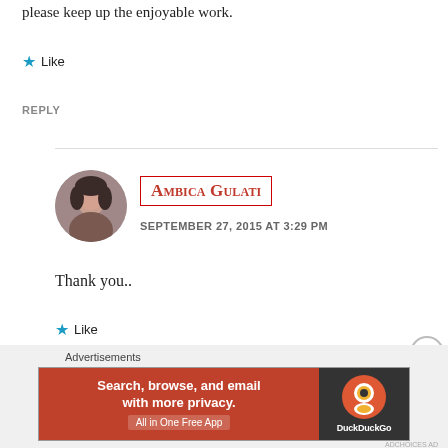please keep up the enjoyable work.
★ Like
REPLY
[Figure (photo): Circular avatar photo of Ambica Gulati]
Ambica Gulati
SEPTEMBER 27, 2015 AT 3:29 PM
Thank you..
★ Like
[Figure (screenshot): DuckDuckGo advertisement banner: Search, browse, and email with more privacy. All in One Free App]
Advertisements